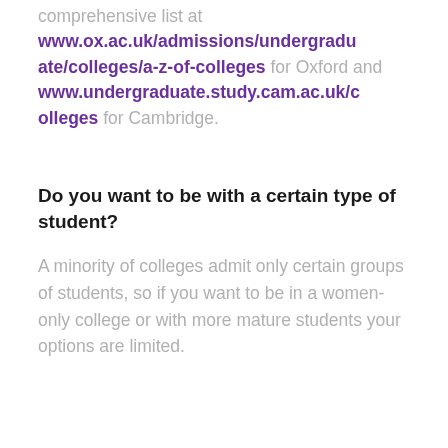comprehensive list at www.ox.ac.uk/admissions/undergraduate/colleges/a-z-of-colleges for Oxford and www.undergraduate.study.cam.ac.uk/colleges for Cambridge.
Do you want to be with a certain type of student?
A minority of colleges admit only certain groups of students, so if you want to be in a women-only college or with more mature students your options are limited.